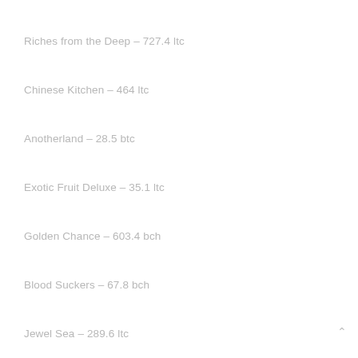Riches from the Deep – 727.4 ltc
Chinese Kitchen – 464 ltc
Anotherland – 28.5 btc
Exotic Fruit Deluxe – 35.1 ltc
Golden Chance – 603.4 bch
Blood Suckers – 67.8 bch
Jewel Sea – 289.6 ltc